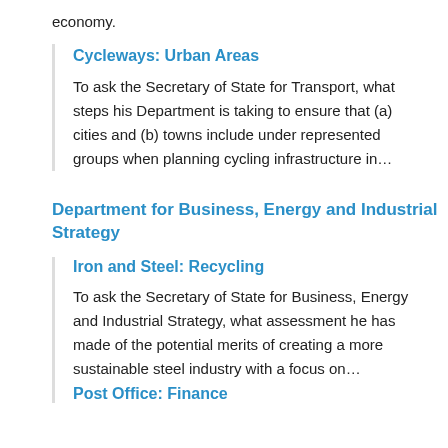economy.
Cycleways: Urban Areas
To ask the Secretary of State for Transport, what steps his Department is taking to ensure that (a) cities and (b) towns include under represented groups when planning cycling infrastructure in…
Department for Business, Energy and Industrial Strategy
Iron and Steel: Recycling
To ask the Secretary of State for Business, Energy and Industrial Strategy, what assessment he has made of the potential merits of creating a more sustainable steel industry with a focus on…
Post Office: Finance